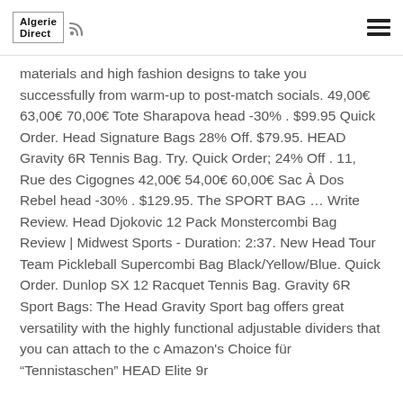Algerie Direct
materials and high fashion designs to take you successfully from warm-up to post-match socials. 49,00€ 63,00€ 70,00€ Tote Sharapova head -30% . $99.95 Quick Order. Head Signature Bags 28% Off. $79.95. HEAD Gravity 6R Tennis Bag. Try. Quick Order; 24% Off . 11, Rue des Cigognes 42,00€ 54,00€ 60,00€ Sac À Dos Rebel head -30% . $129.95. The SPORT BAG … Write Review. Head Djokovic 12 Pack Monstercombi Bag Review | Midwest Sports - Duration: 2:37. New Head Tour Team Pickleball Supercombi Bag Black/Yellow/Blue. Quick Order. Dunlop SX 12 Racquet Tennis Bag. Gravity 6R Sport Bags: The Head Gravity Sport bag offers great versatility with the highly functional adjustable dividers that you can attach to the c Amazon's Choice für "Tennistaschen" HEAD Elite 9r